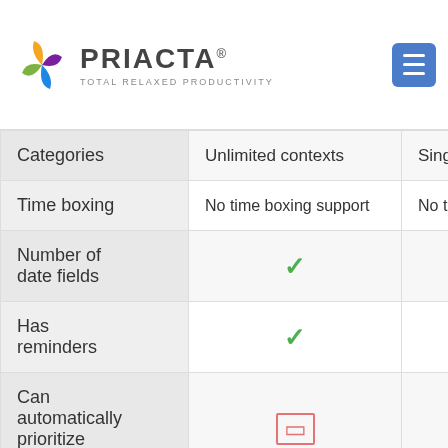PRIACTA® — TOTAL RELAXED PRODUCTIVITY
|  | Priacta | Competitor |
| --- | --- | --- |
| Categories | Unlimited contexts | Single co… |
| Time boxing | No time boxing support | No time b… |
| Number of date fields | ✓ |  |
| Has reminders | ✓ |  |
| Can automatically prioritize tasks | ⬜ |  |
| Project support |  | Supports… |